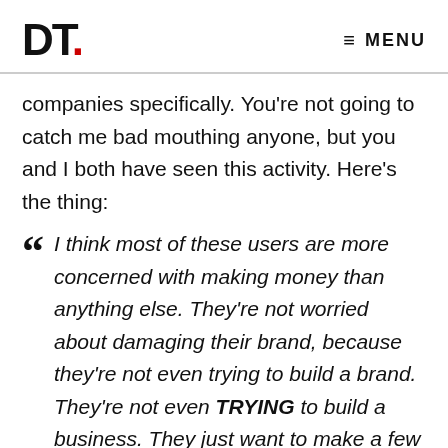DT. MENU
companies specifically. You're not going to catch me bad mouthing anyone, but you and I both have seen this activity. Here's the thing:
“ I think most of these users are more concerned with making money than anything else. They’re not worried about damaging their brand, because they’re not even trying to build a brand. They’re not even TRYING to build a business. They just want to make a few bucks.